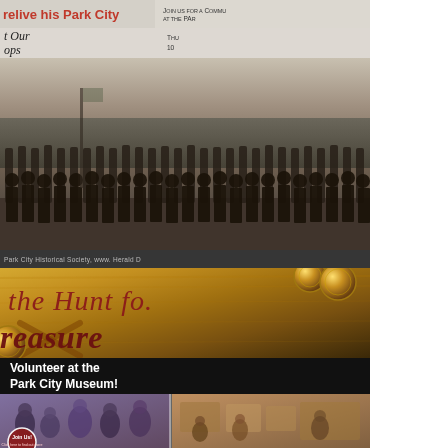[Figure (photo): Partial banner text reading 'relive his Park City' in red bold text on light background, with partial text 'Join us for a Commu... at the Pa... Thu... 10...' on right side]
[Figure (photo): Row with italic text 't Our' and 'ops' on left, and partial event details text on right]
[Figure (photo): Black and white historical photograph of a large group of soldiers or military troops standing in formation outdoors, with a small caption bar at bottom]
[Figure (photo): Decorative image with parchment/treasure map background, gold coins, and stylized text reading 'the Hunt fo... Treasure' in dark red italic font]
Volunteer at the Park City Museum!
[Figure (photo): Collage of photos showing volunteers at the Park City Museum, including people interacting in a museum setting and a table display, with a circular 'Join Us!' badge in the lower left corner]